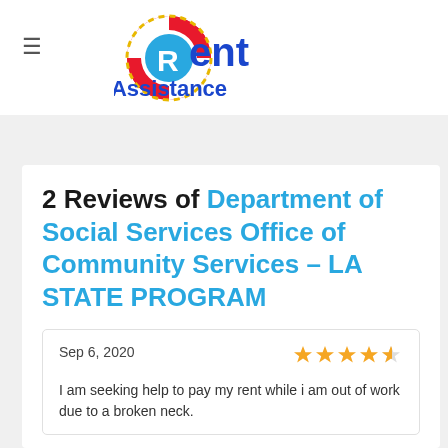[Figure (logo): Rent Assistance logo with life preserver ring and blue bold text]
2 Reviews of Department of Social Services Office of Community Services - LA STATE PROGRAM
Sep 6, 2020
I am seeking help to pay my rent while i am out of work due to a broken neck.